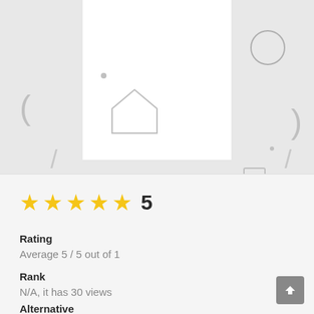[Figure (screenshot): Gray background area with decorative light gray UI icons (circles, rectangles, arrows, brackets) and a white card/panel in the center top portion of the screen.]
★★★★★ 5
Rating
Average 5 / 5 out of 1
Rank
N/A, it has 30 views
Alternative